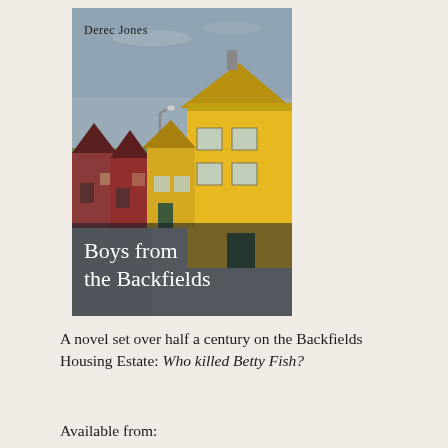[Figure (illustration): Book cover of 'Boys from the Backfields' by Derec Jones. Painting of a row of colourful houses — red and yellow — along a road, with a grey/blue sky. Author name 'Derec Jones' appears at top in dark serif text. Title 'Boys from the Backfields' appears at bottom in large white serif text.]
A novel set over half a century on the Backfields Housing Estate: Who killed Betty Fish?
Available from: